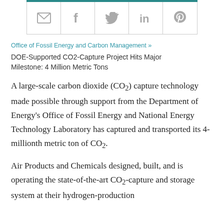[Figure (other): Social sharing icons bar with email, Facebook, Twitter, LinkedIn, and Pinterest icons in gray, separated by borders, with a teal top border accent.]
Office of Fossil Energy and Carbon Management »
DOE-Supported CO2-Capture Project Hits Major Milestone: 4 Million Metric Tons
A large-scale carbon dioxide (CO2) capture technology made possible through support from the Department of Energy's Office of Fossil Energy and National Energy Technology Laboratory has captured and transported its 4-millionth metric ton of CO2.
Air Products and Chemicals designed, built, and is operating the state-of-the-art CO2-capture and storage system at their hydrogen-production facility...